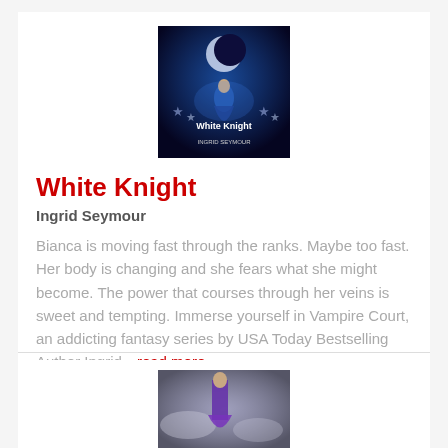[Figure (illustration): Book cover for White Knight by Ingrid Seymour. Dark blue fantasy cover with a woman in a blue dress and silver stars with text 'White Knight' and 'Ingrid Seymour'.]
White Knight
Ingrid Seymour
Bianca is moving fast through the ranks. Maybe too fast. Her body is changing and she fears what she might become. The power that courses through her veins is sweet and tempting. Immerse yourself in Vampire Court, an addicting fantasy series by USA Today Bestselling Author Ingrid...read more
[Figure (illustration): Book cover partially visible — woman in purple outfit against a grey cloudy background.]